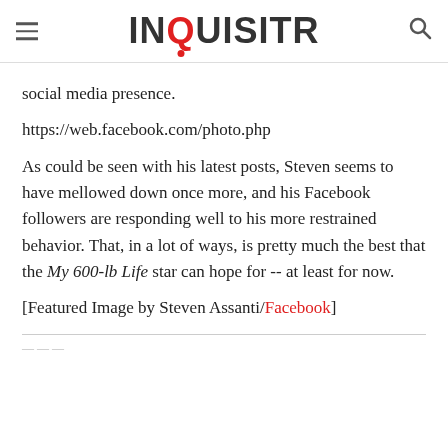INQUISITR
social media presence.
https://web.facebook.com/photo.php
As could be seen with his latest posts, Steven seems to have mellowed down once more, and his Facebook followers are responding well to his more restrained behavior. That, in a lot of ways, is pretty much the best that the My 600-lb Life star can hope for -- at least for now.
[Featured Image by Steven Assanti/Facebook]